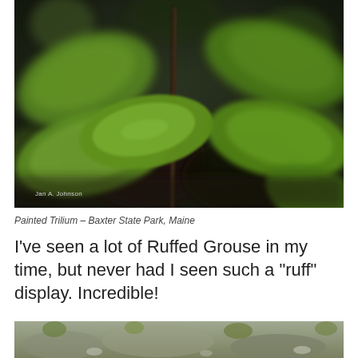[Figure (photo): Close-up macro photograph of Painted Trilium plant with green leaves against a dark blurred forest background. Photographer credit: Jan A. Johnson]
Painted Trilium – Baxter State Park, Maine
I've seen a lot of Ruffed Grouse in my time, but never had I seen such a "ruff" display. Incredible!
[Figure (photo): Partial bottom photo showing ground-level view of grass and earth, likely a forest floor or field scene.]